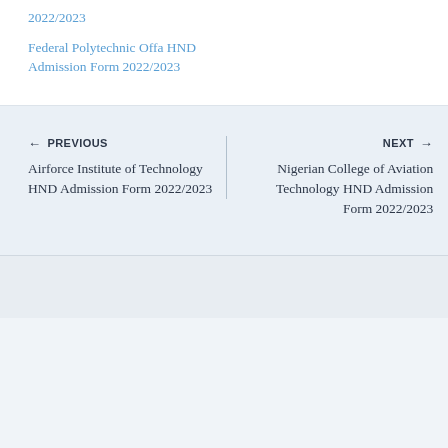2022/2023
Federal Polytechnic Offa HND Admission Form 2022/2023
← PREVIOUS
Airforce Institute of Technology HND Admission Form 2022/2023
NEXT →
Nigerian College of Aviation Technology HND Admission Form 2022/2023